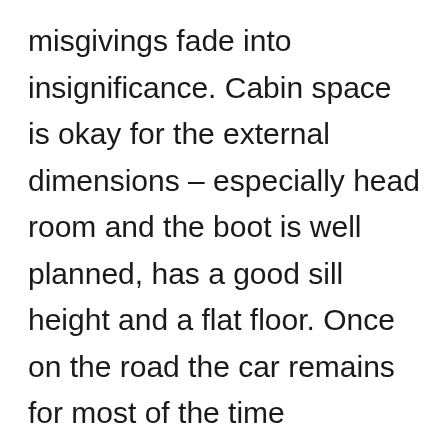misgivings fade into insignificance. Cabin space is okay for the external dimensions – especially head room and the boot is well planned, has a good sill height and a flat floor. Once on the road the car remains for most of the time reasonably refined and smooth. Little vibration can be felt through the cabin and only if you really drive hard does it get noisy.